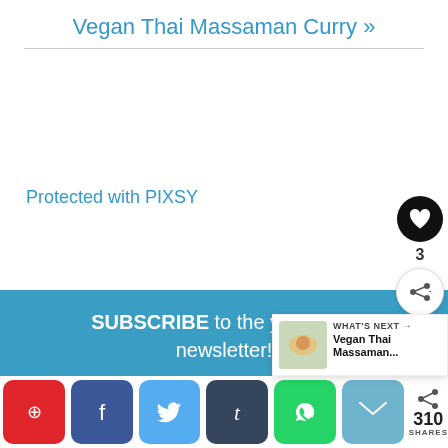Vegan Thai Massaman Curry »
Protected with PIXSY
SUBSCRIBE to the yumsome newsletter!
Email Address
GIMME YUM!
[Figure (infographic): Social share buttons: Pinterest (red), Facebook (blue), Twitter (light blue), Tumblr (dark slate), WhatsApp (green), Email (teal), Share button with 310 SHARES counter. Also shows 'WHAT'S NEXT → Vegan Thai Massaman...' overlay with food image.]